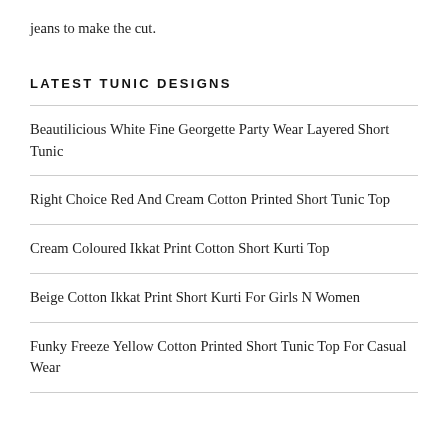jeans to make the cut.
LATEST TUNIC DESIGNS
Beautilicious White Fine Georgette Party Wear Layered Short Tunic
Right Choice Red And Cream Cotton Printed Short Tunic Top
Cream Coloured Ikkat Print Cotton Short Kurti Top
Beige Cotton Ikkat Print Short Kurti For Girls N Women
Funky Freeze Yellow Cotton Printed Short Tunic Top For Casual Wear